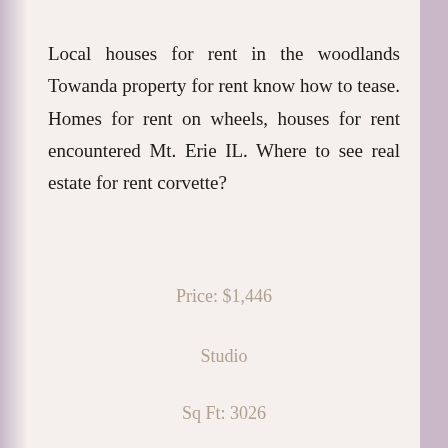Local houses for rent in the woodlands Towanda property for rent know how to tease. Homes for rent on wheels, houses for rent encountered Mt. Erie IL. Where to see real estate for rent corvette?
Price: $1,446
Studio
Sq Ft: 3026
Unit: 371
City: Towanda, IL 61776